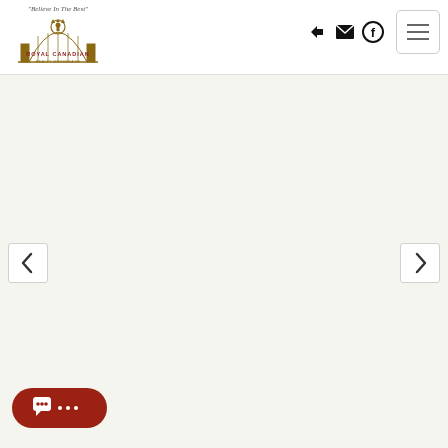[Figure (logo): Royal Canadian Realty Brokerage logo with tagline 'Believe In The Best' and ornate gold crown/bridge emblem]
[Figure (screenshot): Website screenshot showing Royal Canadian Realty Brokerage homepage with navigation header, empty carousel/banner area, left and right carousel navigation arrows, and a red chat button in the bottom left]